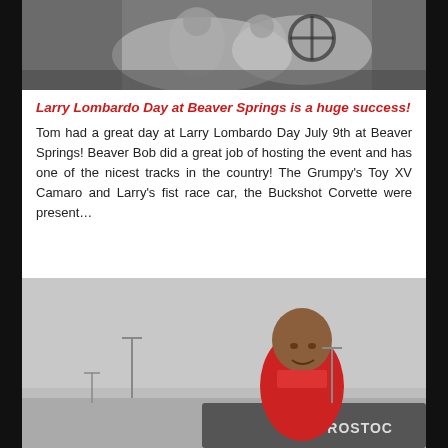[Figure (photo): Black and white photo of two racing drivers in cockpit, steering wheel visible]
Larry Lombardo Day at Beaver Springs is a huge success!
Tom had a great day at Larry Lombardo Day July 9th at Beaver Springs! Beaver Bob did a great job of hosting the event and has one of the nicest tracks in the country! The Grumpy’s Toy XV Camaro and Larry’s fist race car, the Buckshot Corvette were present…
[Figure (photo): Color photo of a man in a red shirt standing outdoors near a car with PROSTOCK text visible, overcast sky background]